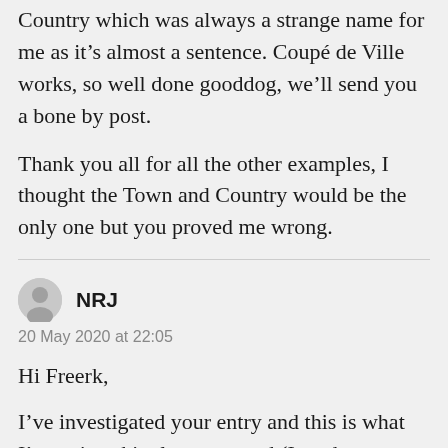Country which was always a strange name for me as it's almost a sentence. Coupé de Ville works, so well done gooddog, we'll send you a bone by post.
Thank you all for all the other examples, I thought the Town and Country would be the only one but you proved me wrong.
NRJ
20 May 2020 at 22:05
Hi Freerk,
I've investigated your entry and this is what I've painstakingly uncovered (I read...